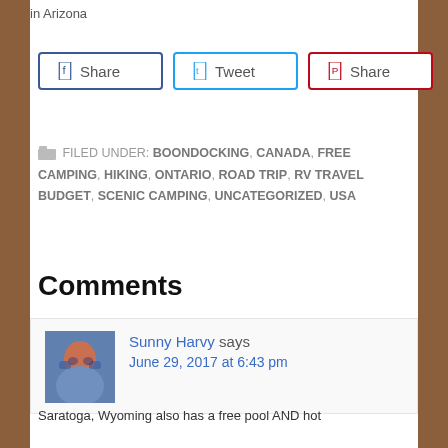in Arizona
[Figure (infographic): Three social sharing buttons: Share (Facebook, blue border), Tweet (Twitter, cyan border), Share (Pinterest, red border)]
FILED UNDER: BOONDOCKING, CANADA, FREE CAMPING, HIKING, ONTARIO, ROAD TRIP, RV TRAVEL BUDGET, SCENIC CAMPING, UNCATEGORIZED, USA
Comments
Sunny Harvy says
June 29, 2017 at 6:43 pm
Saratoga, Wyoming also has a free pool AND hot